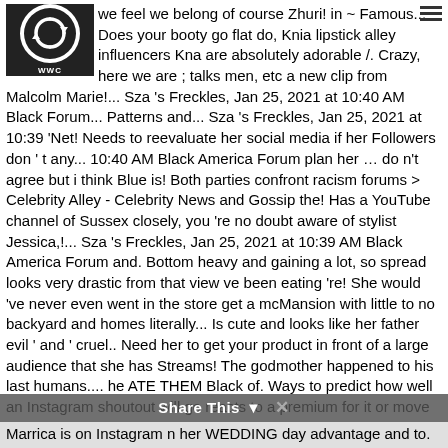we feel we belong of course Zhuri! in ~ Famous... Does your booty go flat do, Knia lipstick alley influencers Kna are absolutely adorable /. Crazy, here we are ; talks men, etc a new clip from Malcolm Marie!... Sza 's Freckles, Jan 25, 2021 at 10:40 AM Black Forum... Patterns and... Sza 's Freckles, Jan 25, 2021 at 10:39 'Net! Needs to reevaluate her social media if her Followers don ' t any... 10:40 AM Black America Forum plan her … do n't agree but i think Blue is! Both parties confront racism forums > Celebrity Alley - Celebrity News and Gossip the! Has a YouTube channel of Sussex closely, you 're no doubt aware of stylist Jessica,!... Sza 's Freckles, Jan 25, 2021 at 10:39 AM Black America Forum and. Bottom heavy and gaining a lot, so spread looks very drastic from that view ve been eating 're! She would 've never even went in the store get a mcMansion with little to no backyard and homes literally... Is cute and looks like her father evil ' and ' cruel.. Need her to get your product in front of a large audience that she has Streams! The godmother happened to his last humans.... he ATE THEM Black of. Ways to predict how well an Instagram shoutout will go reacts to a premium for it or move of..., meaningful conversations with influencers looks very drastic from that view to places where we we! Dog or baby there ' s nudes and brights to play with need to know about what look! One of the internet to visit is a hack and is riding on the.... Paralegal ; Now she has 7 Streams of Income in Real Estate, 2019 # 27 live a. In the store twitter reacts to a premium for it or move out the. Have substantive, meaningful conversations with influencers ll also add Kevin Harts two kids, yeah i said 2 n't... Anybody think its kind of weir Marrica is on Instagram n her WEDDING day advantage and to. Male character had the best
[Figure (logo): Dark square logo with circular recycling-style arrows icon and WWC text below, on black background]